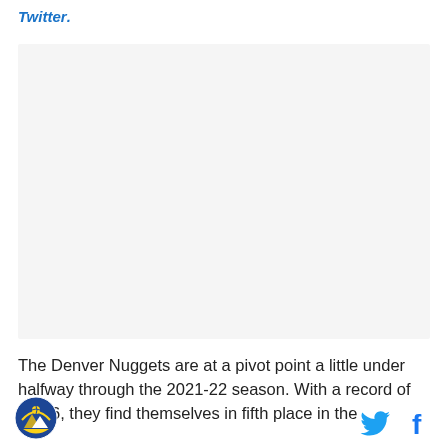Twitter.
[Figure (other): Embedded tweet or social media content placeholder — light grey rectangle]
The Denver Nuggets are at a pivot point a little under halfway through the 2021-22 season. With a record of 17-16, they find themselves in fifth place in the
[Figure (logo): Denver Nuggets circular team logo]
[Figure (other): Twitter bird icon (blue) and Facebook 'f' icon (blue) social sharing buttons]